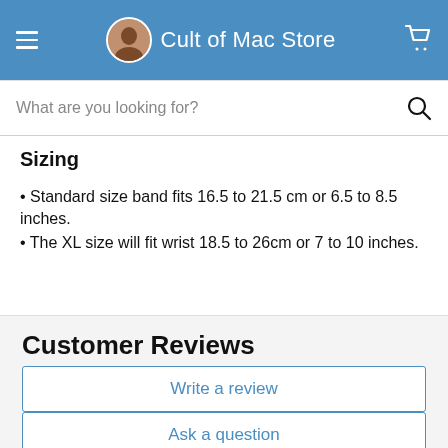Cult of Mac Store
What are you looking for?
Sizing
Standard size band fits 16.5 to 21.5 cm or 6.5 to 8.5 inches.
The XL size will fit wrist 18.5 to 26cm or 7 to 10 inches.
Customer Reviews
Based on 13 reviews
Write a review
Ask a question